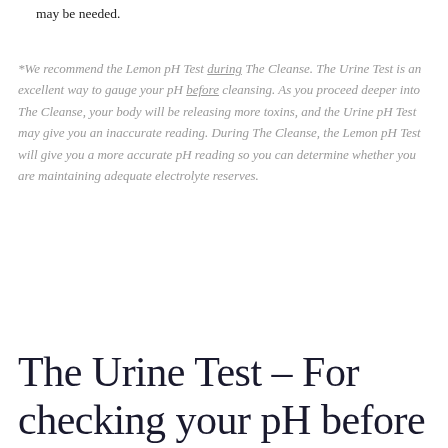may be needed.
*We recommend the Lemon pH Test during The Cleanse. The Urine Test is an excellent way to gauge your pH before cleansing. As you proceed deeper into The Cleanse, your body will be releasing more toxins, and the Urine pH Test may give you an inaccurate reading. During The Cleanse, the Lemon pH Test will give you a more accurate pH reading so you can determine whether you are maintaining adequate electrolyte reserves.
The Urine Test – For checking your pH before